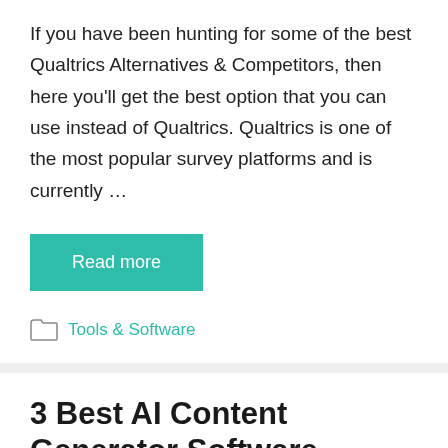If you have been hunting for some of the best Qualtrics Alternatives & Competitors, then here you'll get the best option that you can use instead of Qualtrics. Qualtrics is one of the most popular survey platforms and is currently …
Read more
Tools & Software
3 Best AI Content Generator Software